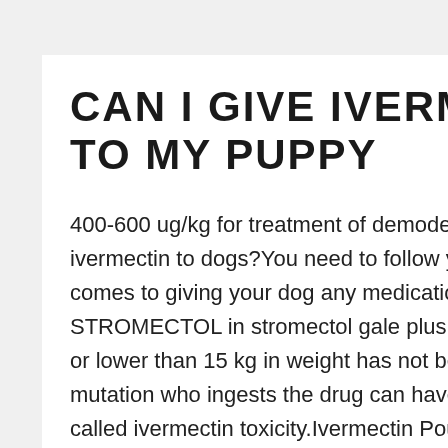CAN I GIVE IVERMECTIN TO MY PUPPY
400-600 ug/kg for treatment of demodectic mange Beside above, can you give ivermectin to dogs?You need to follow your vet's instructions to a T when it comes to giving your dog any medication containing Ivermectin!The safety of STROMECTOL in stromectol gale plus contagieux kids beneath 5 years of age or lower than 15 kg in weight has not been established.However, a dog with the mutation who ingests the drug can have a severe, life-threatening reaction called ivermectin toxicity.Ivermectin Pour-On for Cattle contains ivermectin, a unique chemical entity. What is ivermectin used for in dogs? Side